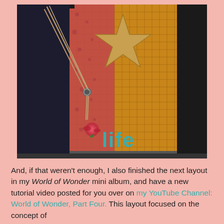[Figure (photo): A handmade scrapbooking tag or mini album page featuring a star shape cut from kraft/burlap-textured paper on an orange/gold textured background, with a pink/red floral embellishment, twine/rope tied through a grommet on the left side, and teal letter stickers spelling 'life' at the bottom.]
And, if that weren't enough, I also finished the next layout in my World of Wonder mini album, and have a new tutorial video posted for you over on my YouTube Channel: World of Wonder, Part Four. This layout focused on the concept of